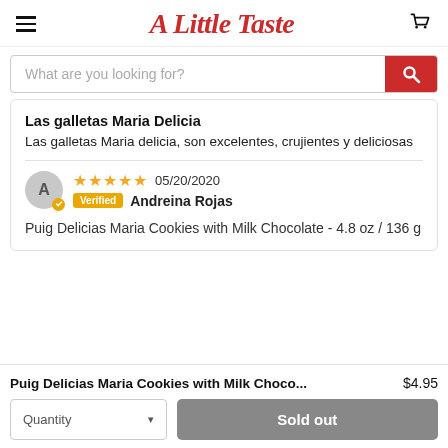A Little Taste
What are you looking for?
Las galletas Maria Delicia
Las galletas Maria delicia, son excelentes, crujientes y deliciosas
05/20/2020 Verified Andreina Rojas
Puig Delicias Maria Cookies with Milk Chocolate - 4.8 oz / 136 g
Puig Delicias Maria Cookies with Milk Choco... $4.95
Quantity  Sold out